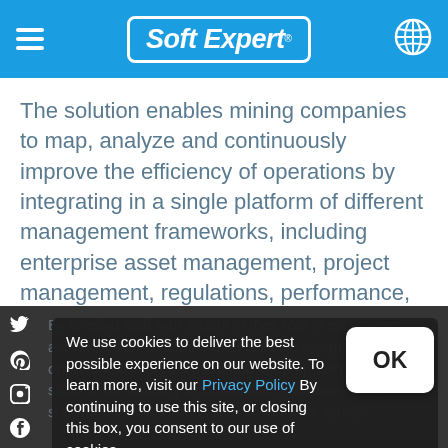Soft Expert
The solution enables mining companies to map, analyze and continuously improve the efficiency of operations by integrating in a single platform of different management frameworks, including enterprise asset management, project management, regulations, performance, audit controls, risk, incidents, documents and records
By briefing staff with insight in their role in end-to-end activities, they become better able to recognize opportunities improvement and keep up with the dramatic shifts in the industry's competitive environment. Powerful support for collaboration with co-workers across
We use cookies to deliver the best possible experience on our website. To learn more, visit our Privacy Policy By continuing to use this site, or closing this box, you consent to our use of cookies.